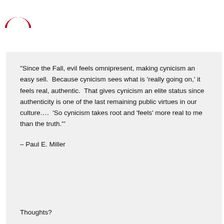[Figure (logo): Partial red logo/icon visible at top left corner]
“Since the Fall, evil feels omnipresent, making cynicism an easy sell.  Because cynicism sees what is ‘really going on,’ it feels real, authentic.  That gives cynicism an elite status since authenticity is one of the last remaining public virtues in our culture….  ‘So cynicism takes root and ‘feels’ more real to me than the truth.’”
– Paul E. Miller
Thoughts?